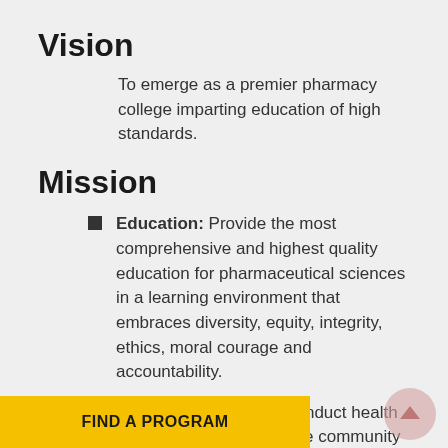Vision
To emerge as a premier pharmacy college imparting education of high standards.
Mission
Education: Provide the most comprehensive and highest quality education for pharmaceutical sciences in a learning environment that embraces diversity, equity, integrity, ethics, moral courage and accountability.
Community service: Conduct health education programs to the community to prevent disease and improve public health and well-ness by [promotes the] [ective use of]